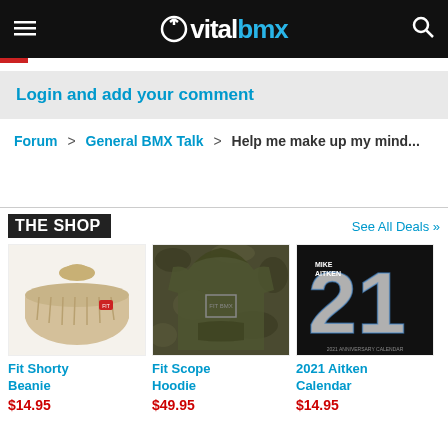vitalbmx
Login and add your comment
Forum > General BMX Talk > Help me make up my mind...
THE SHOP
See All Deals »
[Figure (photo): Fit Shorty Beanie - tan knit beanie with small red logo]
Fit Shorty Beanie
$14.95
[Figure (photo): Fit Scope Hoodie - camouflage green pullover hoodie]
Fit Scope Hoodie
$49.95
[Figure (photo): 2021 Aitken Calendar - Mike Aitken black cover with large 21 numbers]
2021 Aitken Calendar
$14.95